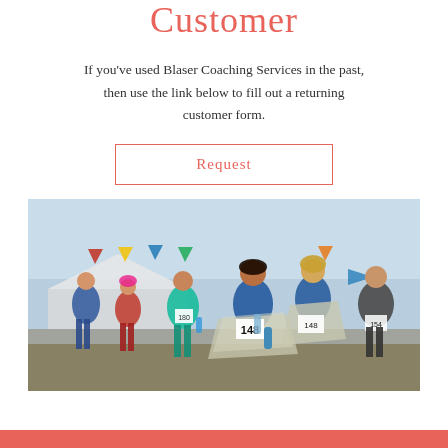Customer
If you've used Blaser Coaching Services in the past, then use the link below to fill out a returning customer form.
Request
[Figure (photo): Group of runners at a race finish area, wearing race bibs (numbers 148, 180, 154, etc.), holding water bottles, wrapped in mylar blankets, smiling and celebrating outdoors with colorful bunting flags in the background.]